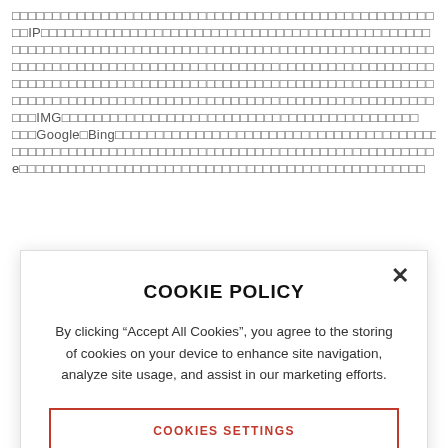[Redacted/obscured background text with Japanese/Chinese characters and references to IP, IMG, Google, Bing]
COOKIE POLICY
By clicking “Accept All Cookies”, you agree to the storing of cookies on your device to enhance site navigation, analyze site usage, and assist in our marketing efforts.
COOKIES SETTINGS
ACCEPT ALL COOKIES